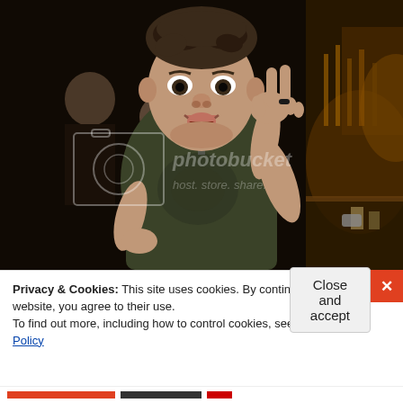[Figure (photo): A young man in a dark bar/nightclub setting making a peace sign with his fingers. He is wearing a dark olive/army green graphic t-shirt and has dark hair. Other people and bar shelves with bottles are visible in the background. A Photobucket watermark is overlaid on the image.]
Privacy & Cookies: This site uses cookies. By continuing to use this website, you agree to their use.
To find out more, including how to control cookies, see here: Cookie Policy
Close and accept